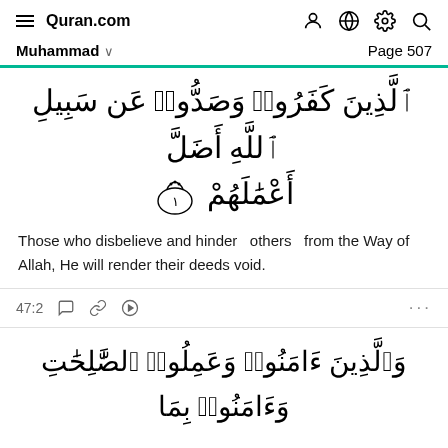Quran.com
Muhammad   Page 507
ٱلَّذِينَ كَفَرُوا۟ وَصَدُّوا۟ عَن سَبِيلِ ٱللَّهِ أَضَلَّ أَعْمَٰلَهُمْ ١
Those who disbelieve and hinder others from the Way of Allah, He will render their deeds void.
47:2
وَٱلَّذِينَ ءَامَنُوا۟ وَعَمِلُوا۟ ٱلصَّٰلِحَٰتِ وَءَامَنُوا۟ بِمَا